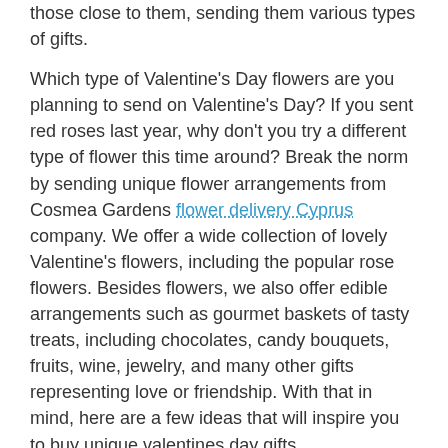those close to them, sending them various types of gifts.
Which type of Valentine's Day flowers are you planning to send on Valentine's Day? If you sent red roses last year, why don't you try a different type of flower this time around? Break the norm by sending unique flower arrangements from Cosmea Gardens flower delivery Cyprus company. We offer a wide collection of lovely Valentine's flowers, including the popular rose flowers. Besides flowers, we also offer edible arrangements such as gourmet baskets of tasty treats, including chocolates, candy bouquets, fruits, wine, jewelry, and many other gifts representing love or friendship. With that in mind, here are a few ideas that will inspire you to buy unique valentines day gifts.
Sunflowers
Sunflowers make awesome Valentine's Day flowers if you want to try a different way to celebrate your loved ones. Sunflowers only come in bright yellow hues that are